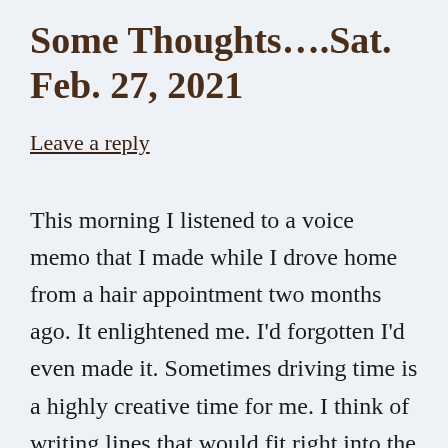Some Thoughts….Sat. Feb. 27, 2021
Leave a reply
This morning I listened to a voice memo that I made while I drove home from a hair appointment two months ago. It enlightened me. I'd forgotten I'd even made it. Sometimes driving time is a highly creative time for me. I think of writing lines that would fit right into the essay I'm working on, but by